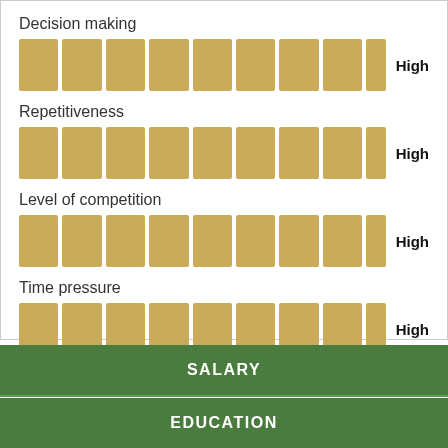[Figure (infographic): Four horizontal bar indicators (Decision making, Repetitiveness, Level of competition, Time pressure), each shown as a row of golden/tan rectangles with 'High' label beside them.]
SALARY
EDUCATION